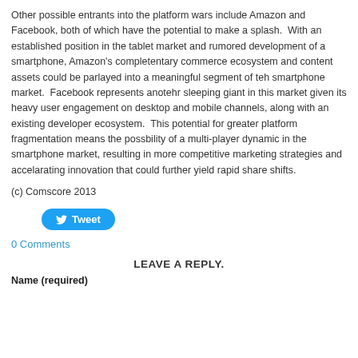Other possible entrants into the platform wars include Amazon and Facebook, both of which have the potential to make a splash. With an established position in the tablet market and rumored development of a smartphone, Amazon's completentary commerce ecosystem and content assets could be parlayed into a meaningful segment of teh smartphone market. Facebook represents anotehr sleeping giant in this market given its heavy user engagement on desktop and mobile channels, along with an existing developer ecosystem. This potential for greater platform fragmentation means the possbility of a multi-player dynamic in the smartphone market, resulting in more competitive marketing strategies and accelarating innovation that could further yield rapid share shifts.
(c) Comscore 2013
[Figure (other): Tweet button with Twitter bird icon]
0 Comments
LEAVE A REPLY.
Name (required)